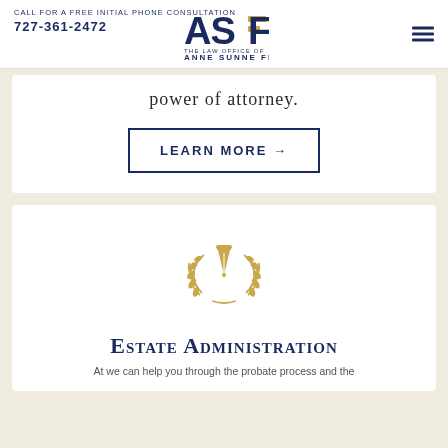[Figure (logo): ASF logo - The Law Office of Anne Sunne Freeman, with stylized ASF letters in navy and gold]
Call For A Free Initial Phone Consultation
727-361-2472
power of attorney.
LEARN MORE →
[Figure (illustration): Gold pen nib/fountain pen icon inside a decorative laurel wreath, gold color]
Estate Administration
At we can help you through the probate process and the